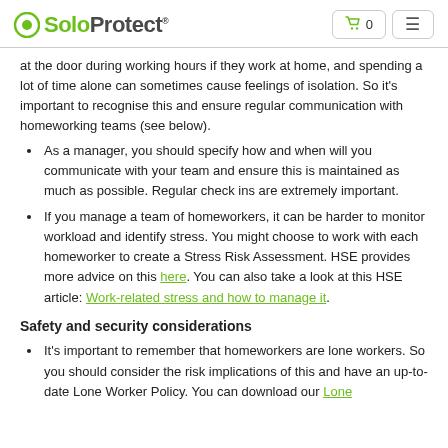SoloProtect
at the door during working hours if they work at home, and spending a lot of time alone can sometimes cause feelings of isolation. So it's important to recognise this and ensure regular communication with homeworking teams (see below).
As a manager, you should specify how and when will you communicate with your team and ensure this is maintained as much as possible. Regular check ins are extremely important.
If you manage a team of homeworkers, it can be harder to monitor workload and identify stress. You might choose to work with each homeworker to create a Stress Risk Assessment. HSE provides more advice on this here. You can also take a look at this HSE article: Work-related stress and how to manage it.
Safety and security considerations
It's important to remember that homeworkers are lone workers. So you should consider the risk implications of this and have an up-to-date Lone Worker Policy. You can download our Lone